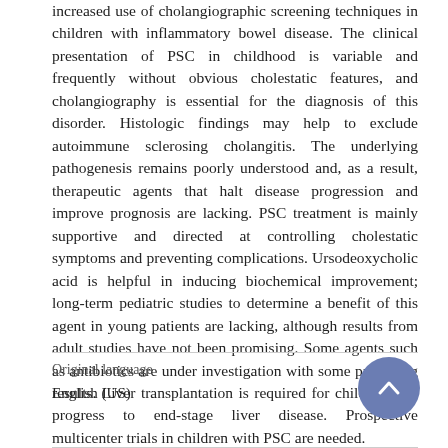increased use of cholangiographic screening techniques in children with inflammatory bowel disease. The clinical presentation of PSC in childhood is variable and frequently without obvious cholestatic features, and cholangiography is essential for the diagnosis of this disorder. Histologic findings may help to exclude autoimmune sclerosing cholangitis. The underlying pathogenesis remains poorly understood and, as a result, therapeutic agents that halt disease progression and improve prognosis are lacking. PSC treatment is mainly supportive and directed at controlling cholestatic symptoms and preventing complications. Ursodeoxycholic acid is helpful in inducing biochemical improvement; long-term pediatric studies to determine a benefit of this agent in young patients are lacking, although results from adult studies have not been promising. Some agents such as antibiotics are under investigation with some promising results. Liver transplantation is required for children who progress to end-stage liver disease. Prospective multicenter trials in children with PSC are needed.
Original language
English (US)